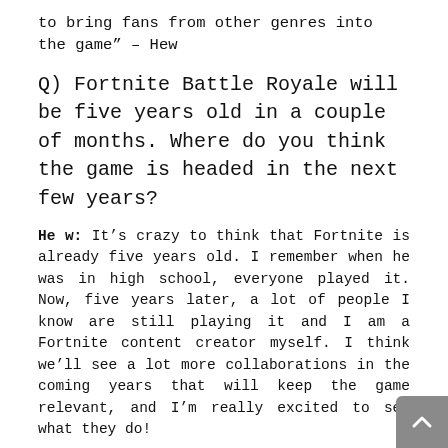to bring fans from other genres into the game” – Hew
Q) Fortnite Battle Royale will be five years old in a couple of months. Where do you think the game is headed in the next few years?
He w: It’s crazy to think that Fortnite is already five years old. I remember when he was in high school, everyone played it. Now, five years later, a lot of people I know are still playing it and I am a Fortnite content creator myself. I think we’ll see a lot more collaborations in the coming years that will keep the game relevant, and I’m really excited to see what they do!
Q) Your channel features Fortnite and Halo videos heavily. Which of these